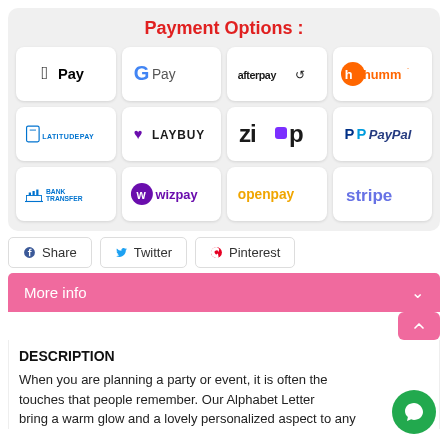Payment Options :
[Figure (infographic): Payment options grid showing 12 payment logos: Apple Pay, Google Pay, Afterpay, Humm, LatitudePay, Laybuy, Zip, PayPal, Bank Transfer, Wizpay, Openpay, Stripe]
Share
Twitter
Pinterest
More info
DESCRIPTION
When you are planning a party or event, it is often the touches that people remember. Our Alphabet Letter bring a warm glow and a lovely personalized aspect to any